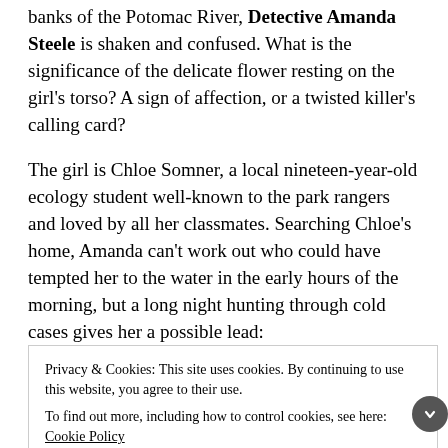…When killer find the body of a beautiful young girl on the banks of the Potomac River, Detective Amanda Steele is shaken and confused. What is the significance of the delicate flower resting on the girl's torso? A sign of affection, or a twisted killer's calling card?
The girl is Chloe Somner, a local nineteen-year-old ecology student well-known to the park rangers and loved by all her classmates. Searching Chloe's home, Amanda can't work out who could have tempted her to the water in the early hours of the morning, but a long night hunting through cold cases gives her a possible lead:
Privacy & Cookies: This site uses cookies. By continuing to use this website, you agree to their use.
To find out more, including how to control cookies, see here: Cookie Policy
Close and accept